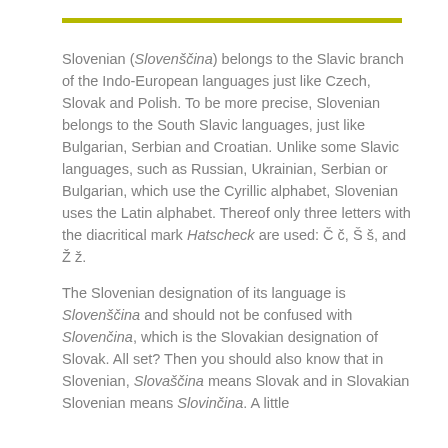Slovenian (Slovenščina) belongs to the Slavic branch of the Indo-European languages just like Czech, Slovak and Polish. To be more precise, Slovenian belongs to the South Slavic languages, just like Bulgarian, Serbian and Croatian. Unlike some Slavic languages, such as Russian, Ukrainian, Serbian or Bulgarian, which use the Cyrillic alphabet, Slovenian uses the Latin alphabet. Thereof only three letters with the diacritical mark Hatscheck are used: Č č, Š š, and Ž ž.
The Slovenian designation of its language is Slovenščina and should not be confused with Slovenčina, which is the Slovakian designation of Slovak. All set? Then you should also know that in Slovenian, Slovaščina means Slovak and in Slovakian Slovenian means Slovinčina. A little confusing, isn't it?